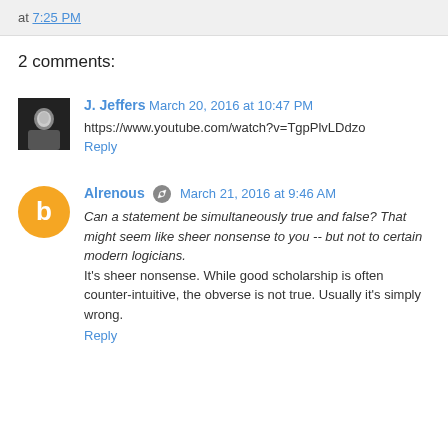at 7:25 PM
2 comments:
J. Jeffers March 20, 2016 at 10:47 PM
https://www.youtube.com/watch?v=TgpPlvLDdzo
Reply
Alrenous March 21, 2016 at 9:46 AM
Can a statement be simultaneously true and false? That might seem like sheer nonsense to you -- but not to certain modern logicians.
It's sheer nonsense. While good scholarship is often counter-intuitive, the obverse is not true. Usually it's simply wrong.
Reply